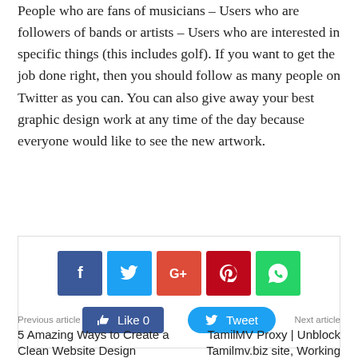People who are fans of musicians – Users who are followers of bands or artists – Users who are interested in specific things (this includes golf). If you want to get the job done right, then you should follow as many people on Twitter as you can. You can also give away your best graphic design work at any time of the day because everyone would like to see the new artwork.
[Figure (infographic): Social sharing widget with Facebook, Twitter, Google+, Pinterest, WhatsApp icon buttons and Like/Tweet action buttons]
Previous article
5 Amazing Ways to Create a Clean Website Design
Next article
TamilMV Proxy | Unblock Tamilmv.biz site, Working 100% Updated